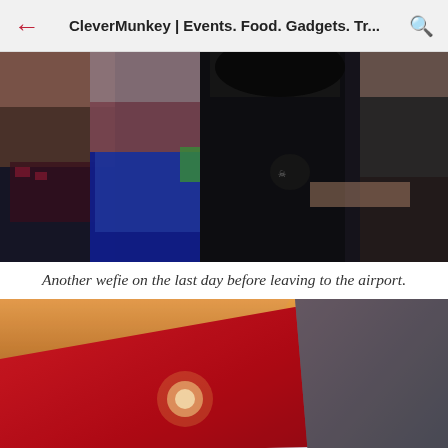CleverMunkey | Events. Food. Gadgets. Tr...
[Figure (photo): Group wefie selfie photo of several people standing close together, taken at night or in low light]
Another wefie on the last day before leaving to the airport.
[Figure (photo): Photo of airplane tail fin and fuselage with sunset in background, warm orange glow, sun visible in sky]